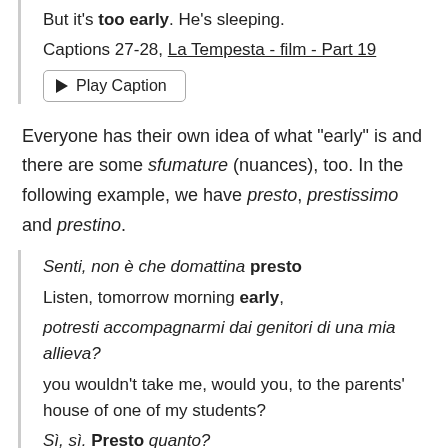But it's too early. He's sleeping.
Captions 27-28, La Tempesta - film - Part 19
[Figure (other): Play Caption button with play triangle icon]
Everyone has their own idea of what "early" is and there are some sfumature (nuances), too. In the following example, we have presto, prestissimo and prestino.
Senti, non è che domattina presto
Listen, tomorrow morning early,
potresti accompagnarmi dai genitori di una mia allieva?
you wouldn't take me, would you, to the parents' house of one of my students?
Sì, sì. Presto quanto?
Yes, yes. How early?